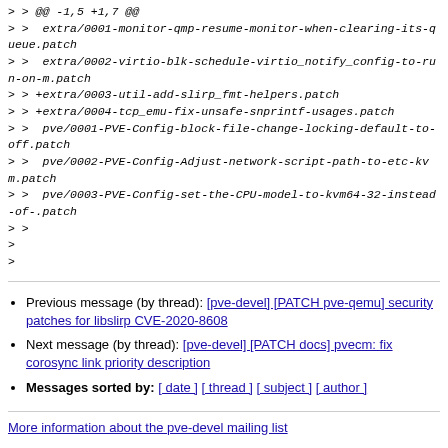> > @@ -1,5 +1,7 @@
> >  extra/0001-monitor-qmp-resume-monitor-when-clearing-its-queue.patch
> >  extra/0002-virtio-blk-schedule-virtio_notify_config-to-run-on-m.patch
> > +extra/0003-util-add-slirp_fmt-helpers.patch
> > +extra/0004-tcp_emu-fix-unsafe-snprintf-usages.patch
> >  pve/0001-PVE-Config-block-file-change-locking-default-to-off.patch
> >  pve/0002-PVE-Config-Adjust-network-script-path-to-etc-kvm.patch
> >  pve/0003-PVE-Config-set-the-CPU-model-to-kvm64-32-instead-of-.patch
> >
>
>
Previous message (by thread): [pve-devel] [PATCH pve-qemu] security patches for libslirp CVE-2020-8608
Next message (by thread): [pve-devel] [PATCH docs] pvecm: fix corosync link priority description
Messages sorted by: [ date ] [ thread ] [ subject ] [ author ]
More information about the pve-devel mailing list